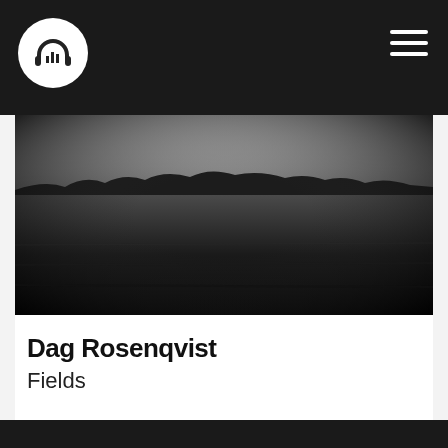[Figure (photo): Black and white photograph of a flat field landscape with distant treeline on the horizon, dark and moody]
Dag Rosenqvist
Fields